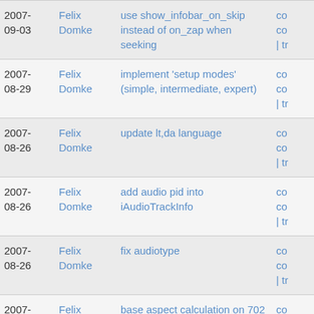| Date | Author | Message | Links |
| --- | --- | --- | --- |
| 2007-09-03 | Felix Domke | use show_infobar_on_skip instead of on_zap when seeking | com
com
| tr |
| 2007-08-29 | Felix Domke | implement 'setup modes' (simple, intermediate, expert) | com
com
| tr |
| 2007-08-26 | Felix Domke | update lt,da language | com
com
| tr |
| 2007-08-26 | Felix Domke | add audio pid into iAudioTrackInfo | com
com
| tr |
| 2007-08-26 | Felix Domke | fix audiotype | com
com
| tr |
| 2007-08-25 | Felix Domke | base aspect calculation on 702 instead of 720 pixel | com
com |